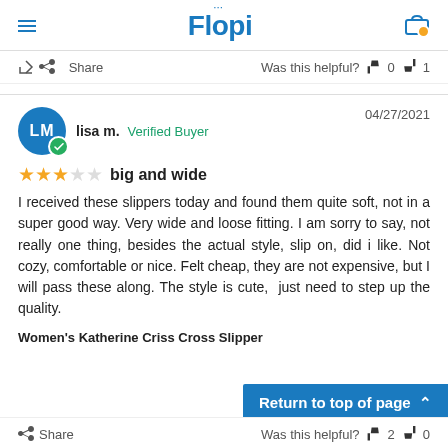Floopi
Share   Was this helpful?  👍 0  👎 1
lisa m.  Verified Buyer   04/27/2021
★★★☆☆  big and wide
I received these slippers today and found them quite soft, not in a super good way. Very wide and loose fitting. I am sorry to say, not really one thing, besides the actual style, slip on, did i like. Not cozy, comfortable or nice. Felt cheap, they are not expensive, but I will pass these along. The style is cute,  just need to step up the quality.
Women's Katherine Criss Cross Slipper
Return to top of page
Share   Was this helpful?  👍 2  👎 0